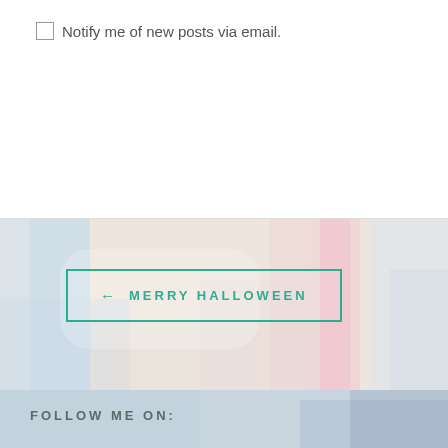Notify me of new posts via email.
[Figure (illustration): Abstract watercolor/paint brush background with pastel pink, blue, and beige tones]
← MERRY HALLOWEEN
[Figure (illustration): Abstract watercolor/paint brush background with light blue and grey tones]
FOLLOW ME ON: